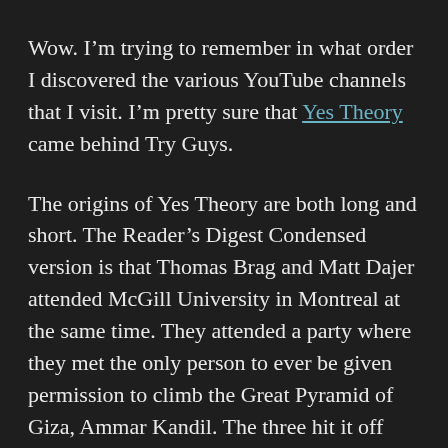Wow. I'm trying to remember in what order I discovered the various YouTube channels that I visit. I'm pretty sure that Yes Theory came behind Try Guys.
The origins of Yes Theory are both long and short. The Reader's Digest Condensed version is that Thomas Brag and Matt Dajer attended McGill University in Montreal at the same time. They attended a party where they met the only person to ever be given permission to climb the Great Pyramid of Giza, Ammar Kandil. The three hit it off immediately and, with a friend acting as cameraman, they decided to try one new thing every day for thirty days. They called